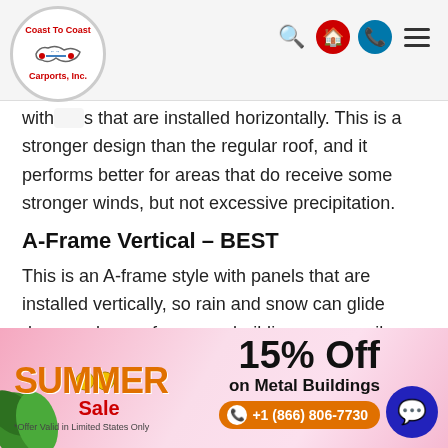Coast To Coast Carports, Inc. — navigation header
with panels that are installed horizontally. This is a stronger design than the regular roof, and it performs better for areas that do receive some stronger winds, but not excessive precipitation.
A-Frame Vertical – BEST
This is an A-frame style with panels that are installed vertically, so rain and snow can glide down and away from your building more easily. The vertical roof also comes with hat-channel pieces and more reinforcement, and our
[Figure (infographic): Summer Sale advertisement banner: SUMMER Sale 15% Off on Metal Buildings, *Offer Valid in Limited States Only, phone +1 (866) 806-7730, with chat bubble icon and tropical leaf decorations]